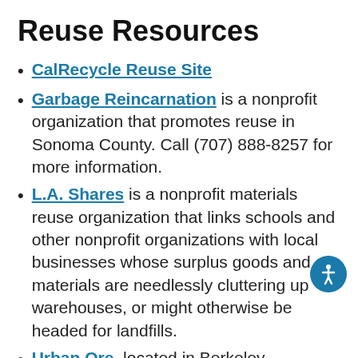Reuse Resources
CalRecycle Reuse Site
Garbage Reincarnation is a nonprofit organization that promotes reuse in Sonoma County. Call (707) 888-8257 for more information.
L.A. Shares is a nonprofit materials reuse organization that links schools and other nonprofit organizations with local businesses whose surplus goods and materials are needlessly cluttering up warehouses, or might otherwise be headed for landfills.
Urban Ore, located in Berkeley, California, buys, trades, and sells used or surplus building materials, household items, furniture, fixtures,